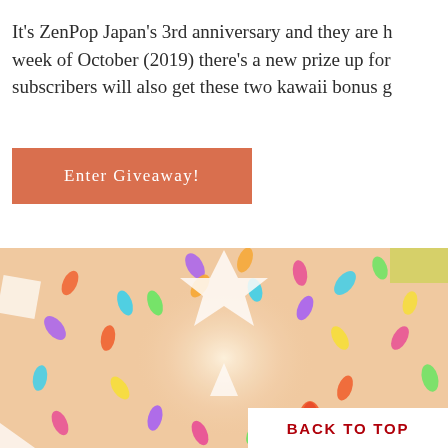It's ZenPop Japan's 3rd anniversary and they are h… week of October (2019) there's a new prize up for… subscribers will also get these two kawaii bonus g…
Enter Giveaway!
[Figure (illustration): Colorful confetti-like oval shapes scattered on a peach/beige background, resembling a festive or celebration pattern. A white geometric star/arrow shape is visible at the top center, and white triangular shapes at the edges. A flame/fire emoji illustration appears at the bottom center-right.]
BACK TO TOP